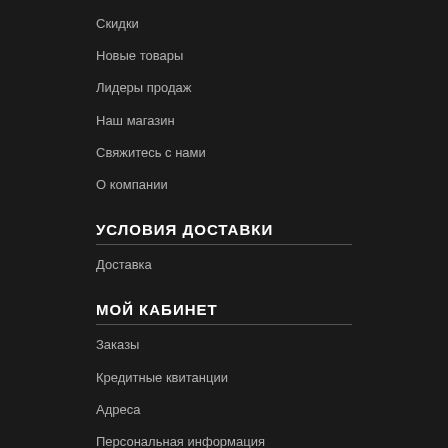Скидки
Новые товары
Лидеры продаж
Наш магазин
Свяжитесь с нами
О компании
УСЛОВИЯ ДОСТАВКИ
Доставка
МОЙ КАБИНЕТ
Заказы
Кредитные квитанции
Адреса
Персональная информация
Купоны